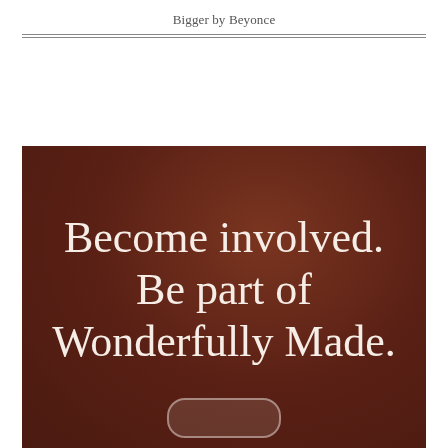Bigger by Beyonce
[Figure (illustration): Dark reddish-brown textured background image with large white serif text reading 'Become involved. Be part of Wonderfully Made.' and a faint rounded rectangle button outline at the bottom center.]